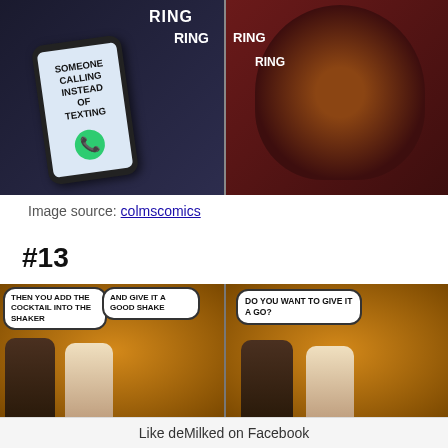[Figure (illustration): Two-panel comic. Left panel: hand holding a smartphone with text 'SOMEONE CALLING INSTEAD OF TEXTING' with green phone button, and 'RING RING' text above. Right panel: animated man with horrified expression, face shadowed, with 'RING RING RING' text.]
Image source: colmscomics
#13
[Figure (illustration): Two-panel comic. Left panel: two cartoon bartender characters, speech bubbles say 'THEN YOU ADD THE COCKTAIL INTO THE SHAKER' and 'AND GIVE IT A GOOD SHAKE'. Right panel: same characters, speech bubble says 'DO YOU WANT TO GIVE IT A GO?']
Like deMilked on Facebook